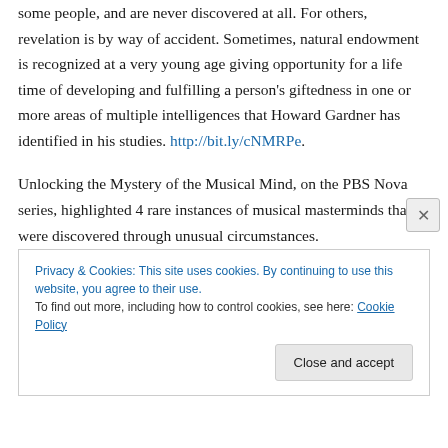some people, and are never discovered at all. For others, revelation is by way of accident. Sometimes, natural endowment is recognized at a very young age giving opportunity for a life time of developing and fulfilling a person's giftedness in one or more areas of multiple intelligences that Howard Gardner has identified in his studies. http://bit.ly/cNMRPe.
Unlocking the Mystery of the Musical Mind, on the PBS Nova series, highlighted 4 rare instances of musical masterminds that were discovered through unusual circumstances.
Privacy & Cookies: This site uses cookies. By continuing to use this website, you agree to their use. To find out more, including how to control cookies, see here: Cookie Policy